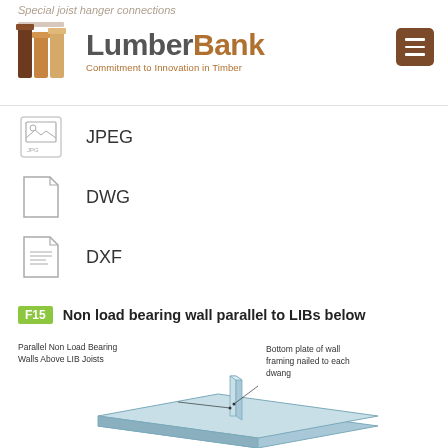Special joist hanger connections — LumberBank — Commitment to Innovation in Timber
[Figure (logo): LumberBank logo with timber icon and tagline 'Commitment to Innovation in Timber']
JPEG
DWG
DXF
F15 Non load bearing wall parallel to LIBs below
[Figure (engineering-diagram): Isometric diagram showing parallel non load bearing walls above LIB joists with bottom plate of wall framing nailed to each dwang]